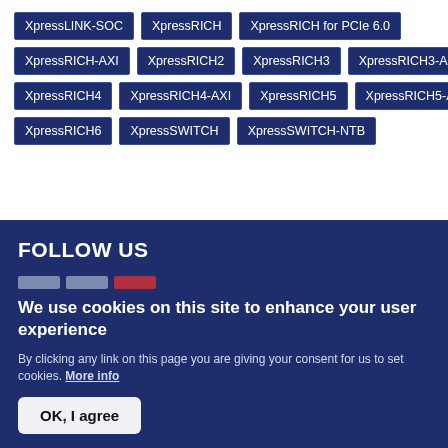XpressLINK-SOC
XpressRICH
XpressRICH for PCIe 6.0
XpressRICH-AXI
XpressRICH2
XpressRICH3
XpressRICH3-AXI
XpressRICH4
XpressRICH4-AXI
XpressRICH5
XpressRICH5-AXI
XpressRICH6
XpressSWITCH
XpressSWITCH-NTB
FOLLOW US
We use cookies on this site to enhance your user experience
By clicking any link on this page you are giving your consent for us to set cookies. More info
OK, I agree